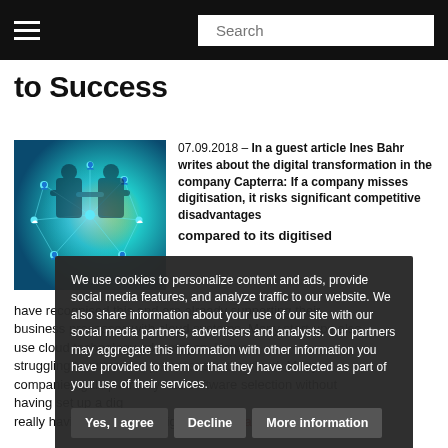Search
to Success
[Figure (photo): Two silhouetted figures shaking hands with a glowing network/digital connection overlay on teal background]
07.09.2018 – In a guest article Ines Bahr writes about the digital transformation in the company Capterra: If a company misses digitisation, it risks significant competitive disadvantages compared to its digitised have recognised this and are already supporting their business processes with cloud systems. Many start-ups also use cloud technology advantages. Howe struggling to outsource processes to the cloud. Many companies gallop directly into software selection without having set up a dig really having understood digitisation. Read more »
We use cookies to personalize content and ads, provide social media features, and analyze traffic to our website. We also share information about your use of our site with our social media partners, advertisers and analysts. Our partners may aggregate this information with other information you have provided to them or that they have collected as part of your use of their services.